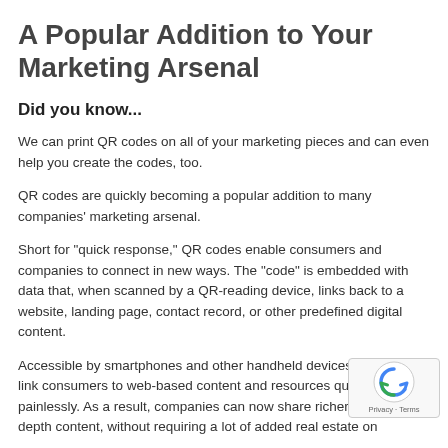A Popular Addition to Your Marketing Arsenal
Did you know...
We can print QR codes on all of your marketing pieces and can even help you create the codes, too.
QR codes are quickly becoming a popular addition to many companies' marketing arsenal.
Short for "quick response," QR codes enable consumers and companies to connect in new ways. The "code" is embedded with data that, when scanned by a QR-reading device, links back to a website, landing page, contact record, or other predefined digital content.
Accessible by smartphones and other handheld devices, QR codes link consumers to web-based content and resources quickly and painlessly. As a result, companies can now share richer, more in-depth content, without requiring a lot of added real estate on...